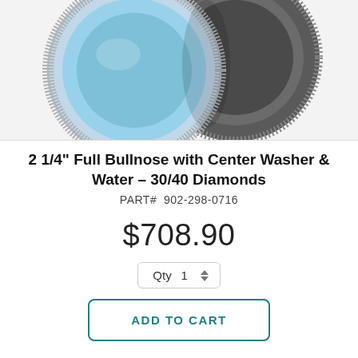[Figure (photo): Two diamond grinding wheels for bullnose edge profiling, one light blue and one dark gray, shown close-up on a white background.]
2 1/4" Full Bullnose with Center Washer & Water – 30/40 Diamonds
PART#  902-298-0716
$708.90
Qty  1
ADD TO CART